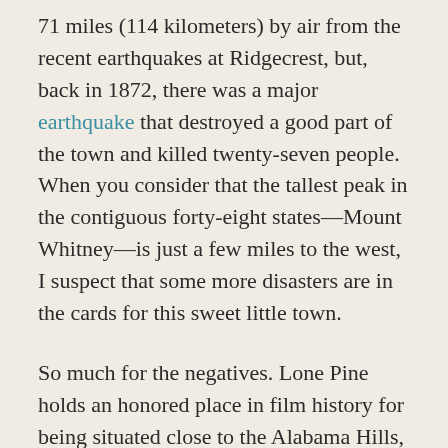71 miles (114 kilometers) by air from the recent earthquakes at Ridgecrest, but, back in 1872, there was a major earthquake that destroyed a good part of the town and killed twenty-seven people. When you consider that the tallest peak in the contiguous forty-eight states—Mount Whitney—is just a few miles to the west, I suspect that some more disasters are in the cards for this sweet little town.
So much for the negatives. Lone Pine holds an honored place in film history for being situated close to the Alabama Hills, which for almost a hundred years have been one of the major shooting locations for movie Westerns. From the days of Jack Hoxie, Tom Mix, and Ken Maynard to the TV Westerns of the 1950s and 1960s, the Alabama Hills were seen in hundreds of film and TV productions. For this reason, the town is the site of the Museum of Western Film History, which is worth two or three hours of your time if you have any love for the genre (as I do).